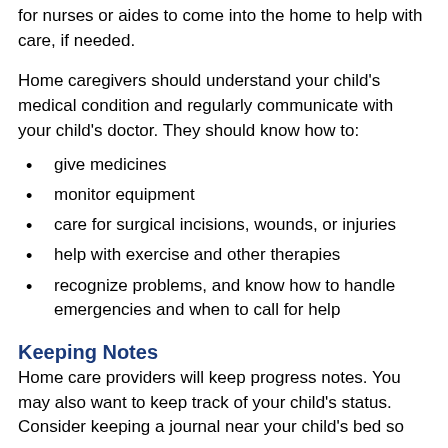for nurses or aides to come into the home to help with care, if needed.
Home caregivers should understand your child's medical condition and regularly communicate with your child's doctor. They should know how to:
give medicines
monitor equipment
care for surgical incisions, wounds, or injuries
help with exercise and other therapies
recognize problems, and know how to handle emergencies and when to call for help
Keeping Notes
Home care providers will keep progress notes. You may also want to keep track of your child's status. Consider keeping a journal near your child's bed so